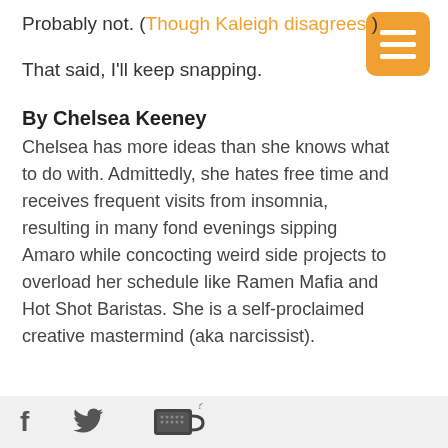Probably not. (Though Kaleigh disagrees.)
That said, I'll keep snapping.
By Chelsea Keeney
Chelsea has more ideas than she knows what to do with. Admittedly, she hates free time and receives frequent visits from insomnia, resulting in many fond evenings sipping Amaro while concocting weird side projects to overload her schedule like Ramen Mafia and Hot Shot Baristas. She is a self-proclaimed creative mastermind (aka narcissist).
f [twitter bird icon] [coffee cup icon]